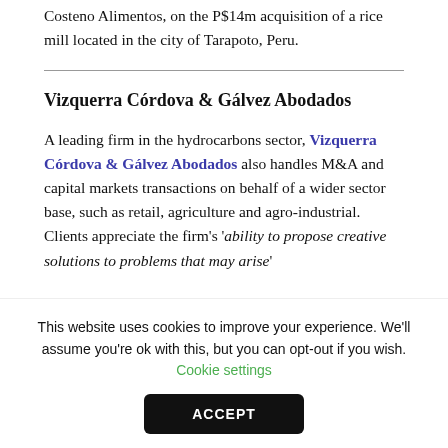Costeno Alimentos, on the P$14m acquisition of a rice mill located in the city of Tarapoto, Peru.
Vizquerra Córdova & Gálvez Abodados
A leading firm in the hydrocarbons sector, Vizquerra Córdova & Gálvez Abodados also handles M&A and capital markets transactions on behalf of a wider sector base, such as retail, agriculture and agro-industrial. Clients appreciate the firm's 'ability to propose creative solutions to problems that may arise'
This website uses cookies to improve your experience. We'll assume you're ok with this, but you can opt-out if you wish. Cookie settings
ACCEPT